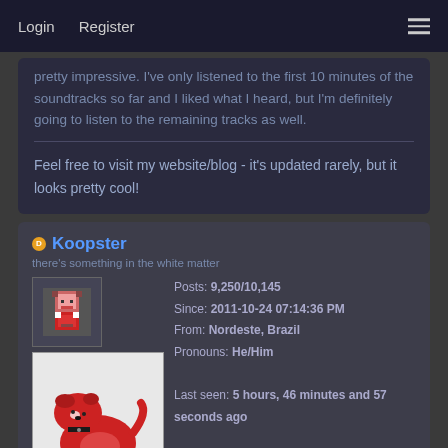Login   Register
pretty impressive. I've only listened to the first 10 minutes of the soundtracks so far and I liked what I heard, but I'm definitely going to listen to the remaining tracks as well.
Feel free to visit my website/blog - it's updated rarely, but it looks pretty cool!
Koopster
there's something in the white matter
Posts: 9,250/10,145
Since: 2011-10-24 07:14:36 PM
From: Nordeste, Brazil
Pronouns: He/Him

Last seen: 5 hours, 46 minutes and 57 seconds ago
Posted on 2020-07-05 11:38:28 PM
Link